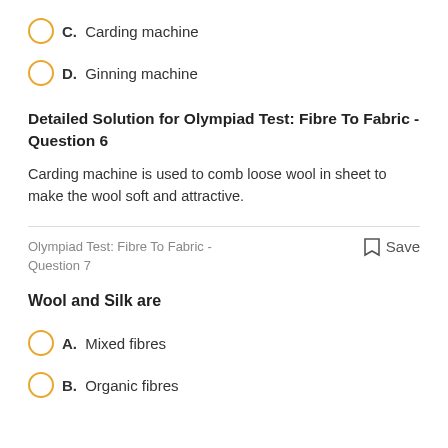C. Carding machine
D. Ginning machine
Detailed Solution for Olympiad Test: Fibre To Fabric - Question 6
Carding machine is used to comb loose wool in sheet to make the wool soft and attractive.
Olympiad Test: Fibre To Fabric - Question 7
Save
Wool and Silk are
A. Mixed fibres
B. Organic fibres